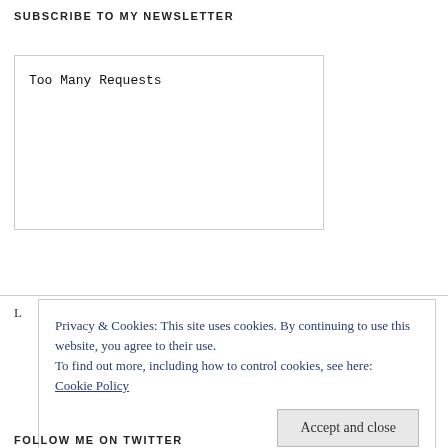SUBSCRIBE TO MY NEWSLETTER
Too Many Requests
Privacy & Cookies: This site uses cookies. By continuing to use this website, you agree to their use.
To find out more, including how to control cookies, see here:
Cookie Policy
Accept and close
FOLLOW ME ON TWITTER